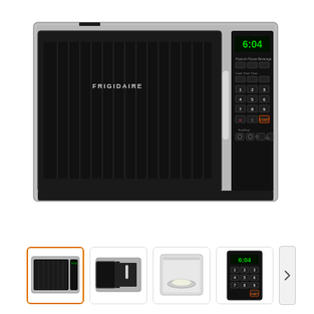[Figure (photo): Frigidaire over-the-range stainless steel microwave oven, front view. Features a large black door with brand logo, control panel on right side with digital green clock display showing 6:04, numeric keypad, and function buttons.]
[Figure (photo): Thumbnail 1 (selected/highlighted): Front view of Frigidaire microwave, same as main image]
[Figure (photo): Thumbnail 2: Angle view of Frigidaire microwave with door open]
[Figure (photo): Thumbnail 3: Interior view of Frigidaire microwave with turntable plate visible]
[Figure (photo): Thumbnail 4: Close-up of the right side control panel of the Frigidaire microwave]